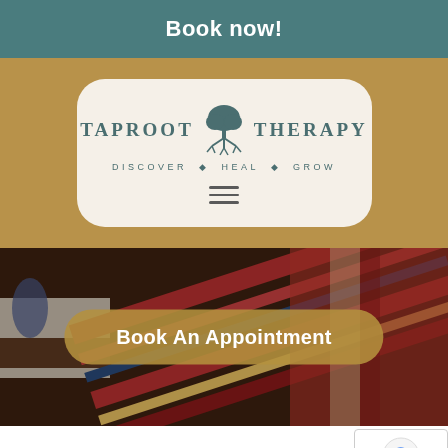Book now!
[Figure (logo): Taproot Therapy logo with a tree icon. Text reads 'TAPROOT THERAPY' with tagline 'DISCOVER · HEAL · GROW'. Displayed inside a rounded rectangle on a tan/gold background.]
[Figure (photo): Hero image showing a therapy office interior with colorful woven rugs/textiles, a wooden table, and a blue vase. Overlaid with a gold rounded button reading 'Book An Appointment'.]
About Our Therapy